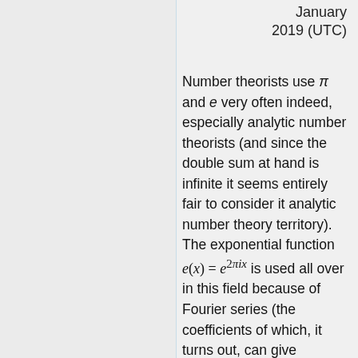January 2019 (UTC)
Number theorists use π and e very often indeed, especially analytic number theorists (and since the double sum at hand is infinite it seems entirely fair to consider it analytic number theory territory). The exponential function e(x) = e^{2πix} is used all over in this field because of Fourier series (the coefficients of which, it turns out, can give remarkable amounts of arithmetic information if used properly). The same field of analytic